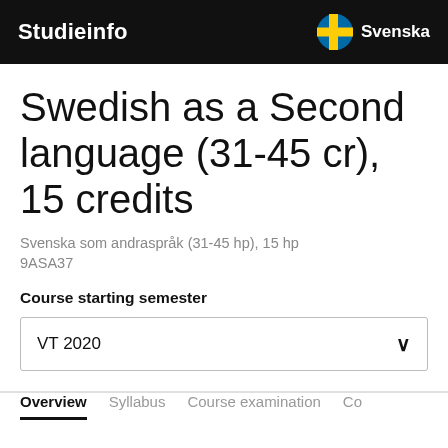Studieinfo | Svenska
Swedish as a Second language (31-45 cr), 15 credits
Svenska som andraspråk (31-45 hp), 15 hp
9ASA37
Course starting semester
VT 2020
Overview  Syllabus  Course examination  Co...